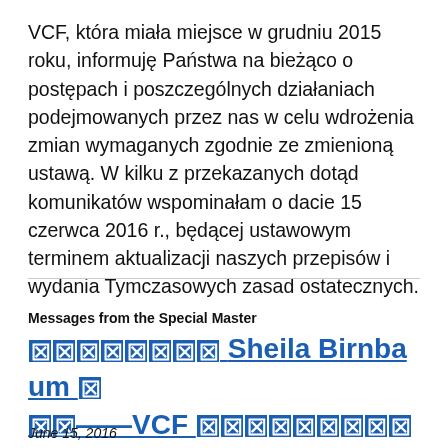VCF, która miała miejsce w grudniu 2015 roku, informuję Państwa na bieżąco o postępach i poszczególnych działaniach podejmowanych przez nas w celu wdrożenia zmian wymaganych zgodnie ze zmienioną ustawą. W kilku z przekazanych dotąd komunikatów wspominałam o dacie 15 czerwca 2016 r., będącej ustawowym terminem aktualizacji naszych przepisów i wydania Tymczasowych zasad ostatecznych.
Messages from the Special Master
[redacted] Sheila Birnbaum [redacted]——VCF [redacted]
June 15, 2016